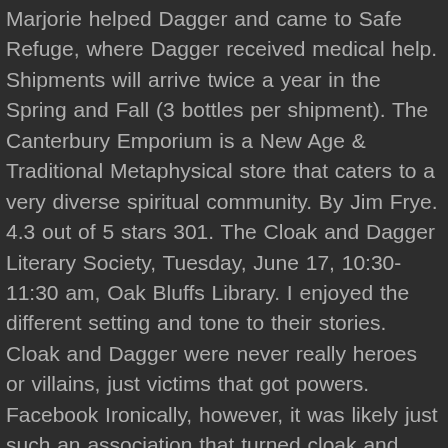Marjorie helped Dagger and came to Safe Refuge, where Dagger received medical help. Shipments will arrive twice a year in the Spring and Fall (3 bottles per shipment). The Canterbury Emporium is a New Age & Traditional Metaphysical store that caters to a very diverse spiritual community. By Jim Frye. 4.3 out of 5 stars 301. The Cloak and Dagger Literary Society, Tuesday, June 17, 10:30-11:30 am, Oak Bluffs Library. I enjoyed the different setting and tone to their stories. Cloak and Dagger were never really heroes or villains, just victims that got powers. Facebook Ironically, however, it was likely just such an association that turned cloak and dagger from a respected fighting style into a term for deceit. Based on the Marvel Comics title of the same name that was launched in 1983, the Freeform series Cloak & Dagger was adapted for television by executive producer Joe Pokaski, with the pilot episode, “First Light,” directed by Gina Prince-Bythewood and photographed by Tami Reiker, ASC.. You can change your city from here. $69.99 $ 69. The Society. This